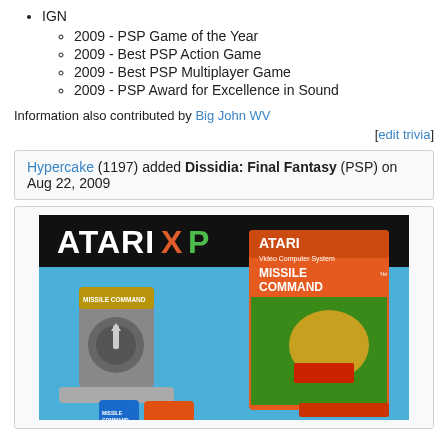IGN
2009 - PSP Game of the Year
2009 - Best PSP Action Game
2009 - Best PSP Multiplayer Game
2009 - PSP Award for Excellence in Sound
Information also contributed by Big John WV
[edit trivia]
Hypercake (1197) added Dissidia: Final Fantasy (PSP) on Aug 22, 2009
[Figure (photo): Atari XP promotional image showing Missile Command cartridge, box art, patches and accessories on a blue background with black Atari XP logo banner at top]